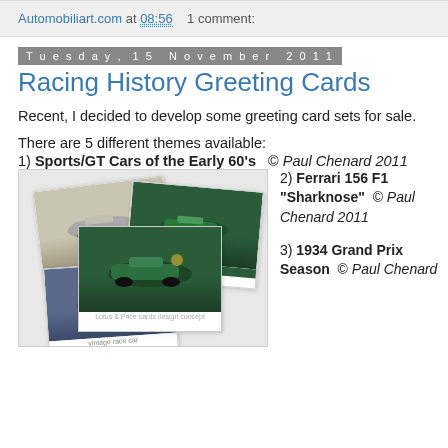Automobiliart.com at 08:56   1 comment:
Tuesday, 15 November 2011
Racing History Greeting Cards
Recent, I decided to develop some greeting card sets for sale.
There are 5 different themes available:
1) Sports/GT Cars of the Early 60's  © Paul Chenard 2011
[Figure (photo): Stack of greeting cards showing vintage racing car illustrations]
2) Ferrari 156 F1 "Sharknose" © Paul Chenard 2011
3) 1934 Grand Prix Season © Paul Chenard